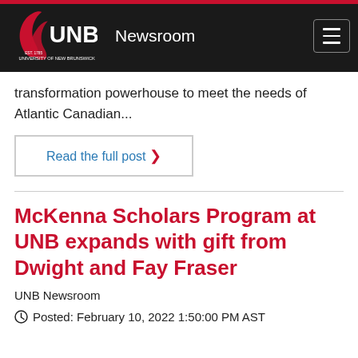UNB Newsroom
transformation powerhouse to meet the needs of Atlantic Canadian...
Read the full post
McKenna Scholars Program at UNB expands with gift from Dwight and Fay Fraser
UNB Newsroom
Posted: February 10, 2022 1:50:00 PM AST